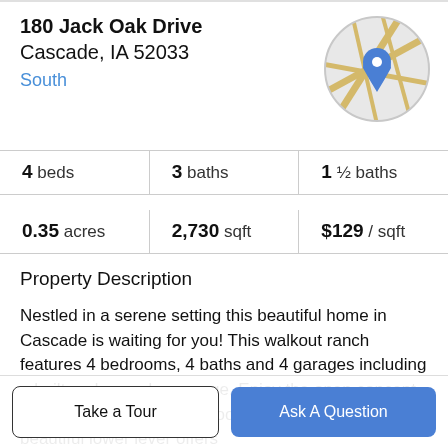180 Jack Oak Drive
Cascade, IA 52033
South
[Figure (map): Circular map thumbnail with a blue location pin marker, showing road intersections with beige/tan road colors on a light gray background.]
4 beds | 3 baths | 1 ½ baths
0.35 acres | 2,730 sqft | $129 / sqft
Property Description
Nestled in a serene setting this beautiful home in Cascade is waiting for you! This walkout ranch features 4 bedrooms, 4 baths and 4 garages including a built under garden garage. Enjoy the open concept kitchen, living and dining rooms combined with a beautiful lower lever offers